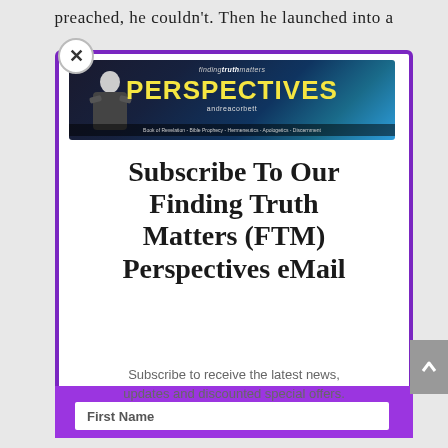preached, he couldn't. Then he launched into a
[Figure (screenshot): Modal popup overlay showing Finding Truth Matters Perspectives newsletter subscription form. Contains a banner image with 'PERSPECTIVES' in yellow bold text on a dark blue globe background, with 'findingtruthmatters' and 'andreacorbett' text. Below is a subscribe heading and description text, followed by a purple bar and a First Name input field.]
Subscribe To Our Finding Truth Matters (FTM) Perspectives eMail
Subscribe to receive the latest news, updates and discounted special offers.
First Name